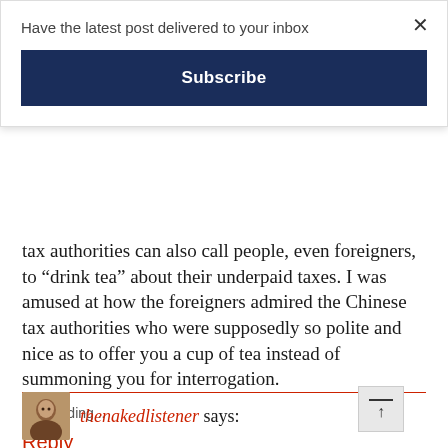Have the latest post delivered to your inbox
Subscribe
tax authorities can also call people, even foreigners, to “drink tea” about their underpaid taxes. I was amused at how the foreigners admired the Chinese tax authorities who were supposedly so polite and nice as to offer you a cup of tea instead of summoning you for interrogation.
Loading...
Reply
thenakedlistener says: